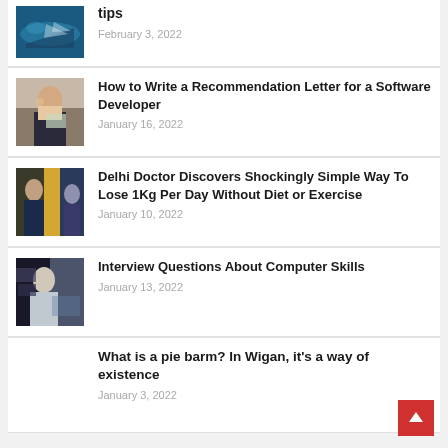[Figure (photo): Thumbnail image of a shark underwater (partial, top of page)]
tips
February 3, 2022
[Figure (photo): Woman with glasses working at a laptop]
How to Write a Recommendation Letter for a Software Developer
January 16, 2022
[Figure (photo): Doctor or person next to a yellow door/panel]
Delhi Doctor Discovers Shockingly Simple Way To Lose 1Kg Per Day Without Diet or Exercise
January 10, 2022
[Figure (photo): Man sitting at a computer workstation]
Interview Questions About Computer Skills
January 13, 2022
What is a pie barm? In Wigan, it's a way of existence
January 3, 2022